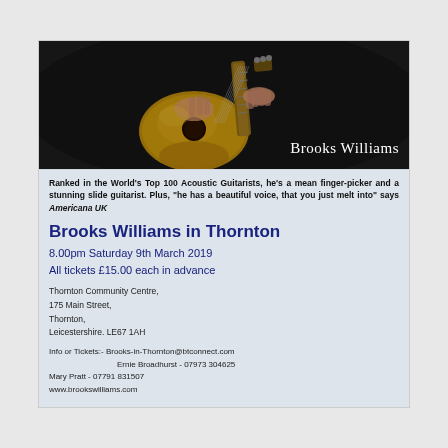[Figure (photo): Person playing an acoustic guitar, dark background. Name overlay 'Brooks Williams' in white text bottom right.]
Ranked in the World's Top 100 Acoustic Guitarists, he's a mean finger-picker and a stunning slide guitarist. Plus, "he has a beautiful voice, that you just melt into" says Americana UK
Brooks Williams in Thornton
8.00pm Saturday 9th March 2019
All tickets £15.00 each in advance
Thornton Community Centre,
175 Main Street,
Thornton,
Leicestershire. LE67 1AH
Info or Tickets:- Brooks-in-Thornton@btconnect.com
Ernie Broadhurst - 07973 304625
Mary Pratt - 07791 831507
www.brookswilliams.com